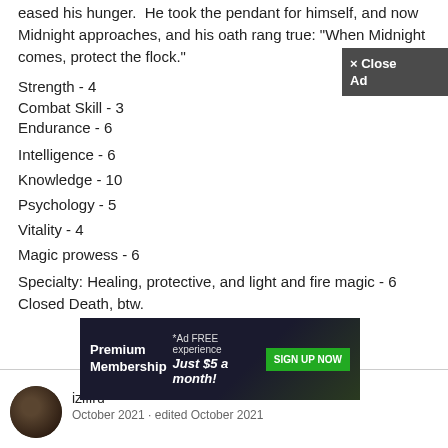eased his hunger.  He took the pendant for himself, and now Midnight approaches, and his oath rang true: "When Midnight comes, protect the flock."
Strength - 4
Combat Skill - 3
Endurance - 6
Intelligence - 6
Knowledge - 10
Psychology - 5
Vitality - 4
Magic prowess - 6
Specialty: Healing, protective, and light and fire magic - 6
Closed Death, btw.
[Figure (infographic): Premium Membership ad banner: '*Ad FREE experience Just $5 a month! SIGN UP NOW' on dark background]
× Close Ad
izifiru
October 2021 · edited October 2021